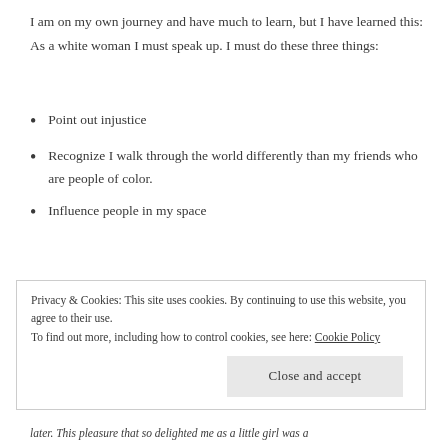I am on my own journey and have much to learn, but I have learned this: As a white woman I must speak up. I must do these three things:
Point out injustice
Recognize I walk through the world differently than my friends who are people of color.
Influence people in my space
I wrote the words below exactly a month ago and I am reposting. Why? Because in my current reality, it’s the only thing I know how to do. That and to pray those ancient words: Lord Jesus Christ, Son of God, Have Mercy on me, a sinner.
Privacy & Cookies: This site uses cookies. By continuing to use this website, you agree to their use.
To find out more, including how to control cookies, see here: Cookie Policy
later. This pleasure that so delighted me as a little girl was a